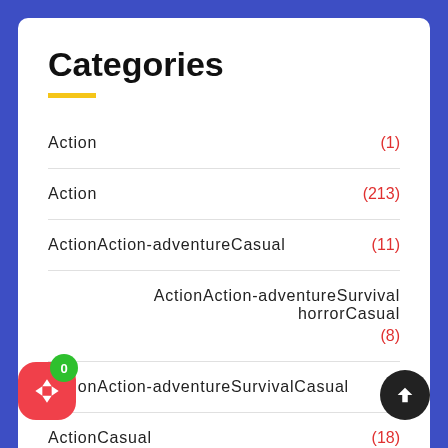Categories
Action (1)
Action (213)
ActionAction-adventureCasual (11)
ActionAction-adventureSurvival horrorCasual (8)
ActionAction-adventureSurvivalCasual (?)
ActionCasual (18)